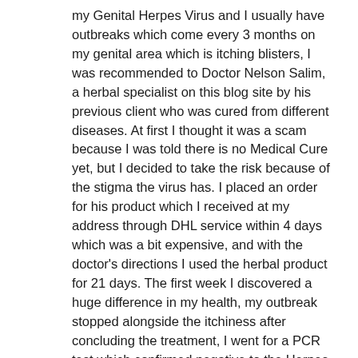my Genital Herpes Virus and I usually have outbreaks which come every 3 months on my genital area which is itching blisters, I was recommended to Doctor Nelson Salim, a herbal specialist on this blog site by his previous client who was cured from different diseases. At first I thought it was a scam because I was told there is no Medical Cure yet, but I decided to take the risk because of the stigma the virus has. I placed an order for his product which I received at my address through DHL service within 4 days which was a bit expensive, and with the doctor's directions I used the herbal product for 21 days. The first week I discovered a huge difference in my health, my outbreak stopped alongside the itchiness after concluding the treatment, I went for a PCR test which confirmed negative to the Herpes Virus with no trace of the virus on my blood. I recommend his product to anyone with Yeast Infection, Epstein Barr, Lupus, HPV, Genital Warts, Diabetes, natural cure for Cancer without Chemo or surgery, Uterus tumor, Prostate, Fibroid, Arthritis, Cholesterol, Hepatitis B there is no disease without natural cure let's stop been deceived by big Pharma, who are only